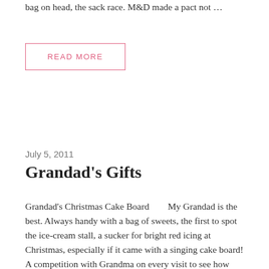bag on head, the sack race. M&D made a pact not …
READ MORE
July 5, 2011
Grandad's Gifts
Grandad's Christmas Cake Board      My Grandad is the best. Always handy with a bag of sweets, the first to spot the ice-cream stall, a sucker for bright red icing at Christmas, especially if it came with a singing cake board! A competition with Grandma on every visit to see how much sugar each could get into us. But then, isn't that what